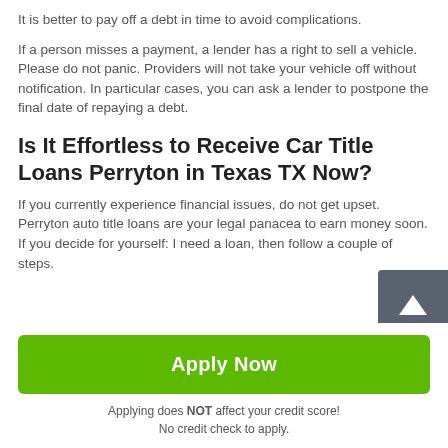It is better to pay off a debt in time to avoid complications.
If a person misses a payment, a lender has a right to sell a vehicle. Please do not panic. Providers will not take your vehicle off without notification. In particular cases, you can ask a lender to postpone the final date of repaying a debt.
Is It Effortless to Receive Car Title Loans Perryton in Texas TX Now?
If you currently experience financial issues, do not get upset. Perryton auto title loans are your legal panacea to earn money soon. If you decide for yourself: I need a loan, then follow a couple of steps.
Apply Now
Applying does NOT affect your credit score!
No credit check to apply.